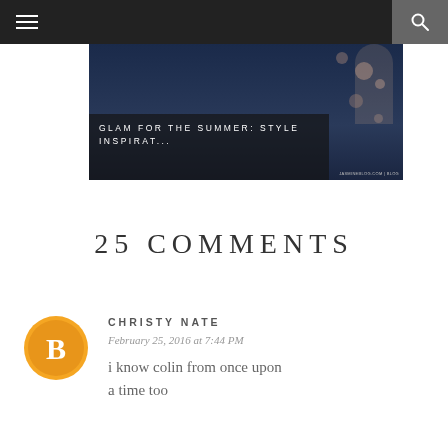Navigation bar with hamburger menu and search icon
[Figure (photo): Hero image of a woman in a navy blue floral dress, partially cropped, with overlay text reading GLAM FOR THE SUMMER: STYLE INSPIRAT...]
25 COMMENTS
CHRISTY NATE
February 25, 2016 at 7:44 PM
i know colin from once upon a time too